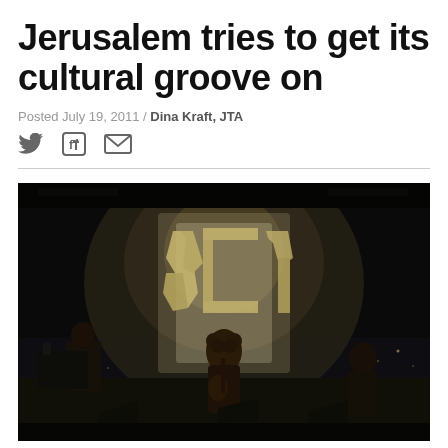Jerusalem tries to get its cultural groove on
Posted July 19, 2011 / Dina Kraft, JTA
[Figure (photo): Concert scene on a dark stage with performers, a guitarist at center, and large Hebrew letters forming a backdrop lit from behind. City lights visible in the background.]